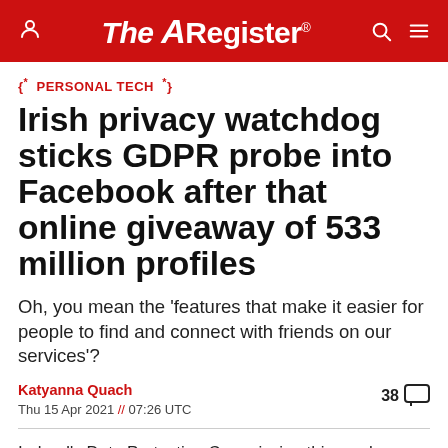The Register
{*  PERSONAL TECH  *}
Irish privacy watchdog sticks GDPR probe into Facebook after that online giveaway of 533 million profiles
Oh, you mean the 'features that make it easier for people to find and connect with friends on our services'?
Katyanna Quach
Thu 15 Apr 2021 // 07:26 UTC
38 comments
Ireland's Data Protection Commission this week launched an investigation into whether Facebook failed